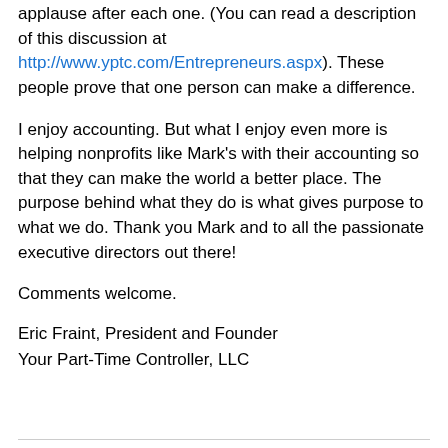applause after each one.  (You can read a description of this discussion at http://www.yptc.com/Entrepreneurs.aspx). These people prove that one person can make a difference.
I enjoy accounting.  But what I enjoy even more is helping nonprofits like Mark's with their accounting so that they can make the world a better place.   The purpose behind what they do is what gives purpose to what we do.  Thank you Mark and to all the passionate executive directors out there!
Comments welcome.
Eric Fraint, President and Founder
Your Part-Time Controller, LLC